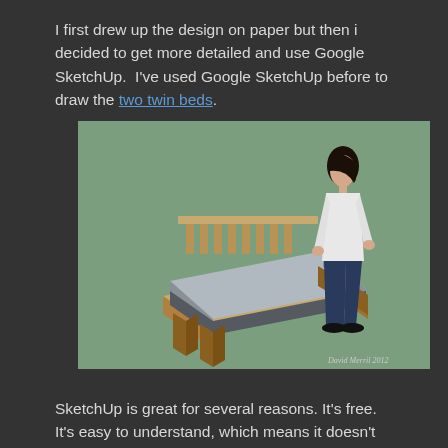I first drew up the design on paper but then i decided to get more detailed and use Google SketchUp.  I've used Google SketchUp before to draw the two twin beds.
[Figure (illustration): A Google SketchUp 3D rendering of a twin bed with a wooden frame and grey mattress, with a figure of a person standing next to it for scale, on a green background. Signed 'David Merril 2012' in bottom right.]
SketchUp is great for several reasons. It's free.  It's easy to understand, which means it doesn't take hours trying to learn how to draw, though it does help if you spend 8 hours a day using AutoCAD.  It's just a really nice